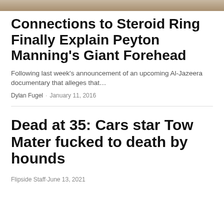[Figure (photo): Cropped image strip at the top of the page, showing a partial photograph]
Connections to Steroid Ring Finally Explain Peyton Manning's Giant Forehead
Following last week's announcement of an upcoming Al-Jazeera documentary that alleges that…
Dylan Fugel · January 11, 2016
Dead at 35: Cars star Tow Mater fucked to death by hounds
Flipside Staff · June 13, 2021